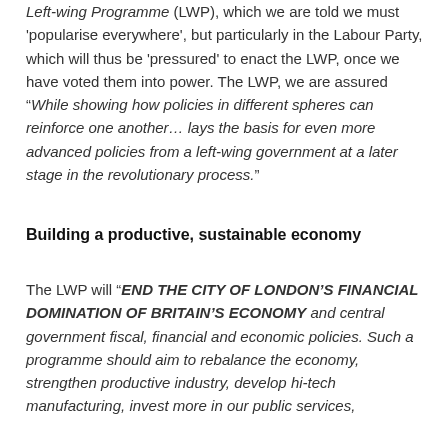'Left-wing Programme' (LWP), which we are told we must 'popularise everywhere', but particularly in the Labour Party, which will thus be 'pressured' to enact the LWP, once we have voted them into power. The LWP, we are assured "While showing how policies in different spheres can reinforce one another… lays the basis for even more advanced policies from a left-wing government at a later stage in the revolutionary process."
Building a productive, sustainable economy
The LWP will "END THE CITY OF LONDON'S FINANCIAL DOMINATION OF BRITAIN'S ECONOMY and central government fiscal, financial and economic policies. Such a programme should aim to rebalance the economy, strengthen productive industry, develop hi-tech manufacturing, invest more in our public services,